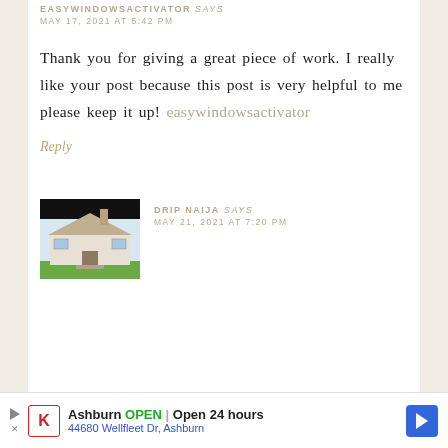EASYWINDOWSACTIVATOR says — MAY 17, 2021 AT 5:42 PM
Thank you for giving a great piece of work. I really like your post because this post is very helpful to me please keep it up! easywindowsactivator
Reply
DRIP NAIJA says — MAY 21, 2021 AT 7:20 PM
[Figure (photo): Avatar image showing a house/building exterior with a dark header bar at top]